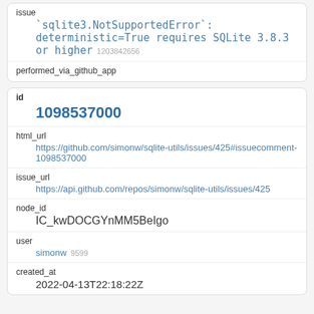| issue | `sqlite3.NotSupportedError`: deterministic=True requires SQLite 3.8.3 or higher 1203842656 |
| performed_via_github_app |  |
| id | 1098537000 |
| html_url | https://github.com/simonw/sqlite-utils/issues/425#issuecomment-1098537000 |
| issue_url | https://api.github.com/repos/simonw/sqlite-utils/issues/425 |
| node_id | IC_kwDOCGYnMM5BeIgo |
| user | simonw 9599 |
| created_at | 2022-04-13T22:18:22Z |